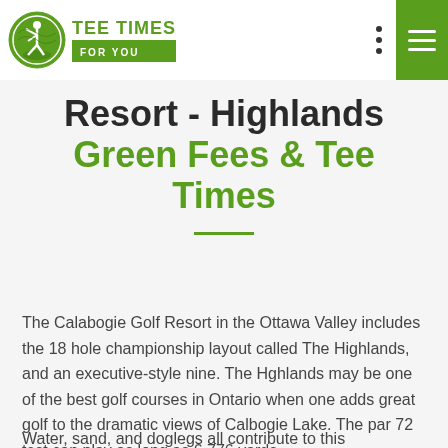TEE TIMES FOR YOU
Resort - Highlands Green Fees & Tee Times
The Calabogie Golf Resort in the Ottawa Valley includes the 18 hole championship layout called The Highlands, and an executive-style nine. The Hghlands may be one of the best golf courses in Ontario when one adds great golf to the dramatic views of Calbogie Lake. The par 72 test can play as long as 6,776 yards.
Water, sand, and doglegs all contribute to this...